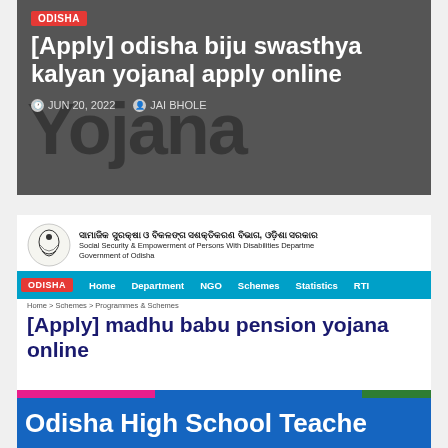[Figure (screenshot): Article card for '[Apply] odisha biju swasthya kalyan yojana| apply online' with dark background, white bold title text, metadata showing JUN 20, 2022 and JAI BHOLE]
[Figure (screenshot): Article card for '[Apply] madhu babu pension yojana online' showing Social Security & Empowerment of Persons With Disabilities Department Government of Odisha header, navigation bar, ODISHA tag, and metadata showing JUN 18, 2022 and JAI BHOLE, with 'Madhu Babu Pension Yojna' watermark text]
[Figure (screenshot): Article card showing 'Odisha High School Teache' (text cut off) with colorful top strip in pink, blue, and green, and blue background]